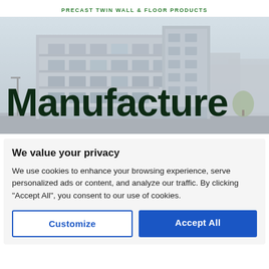PRECAST TWIN WALL & FLOOR PRODUCTS
[Figure (photo): Architectural rendering of a modern multi-storey residential building complex with balconies and large windows, shown from street level perspective with a light/overcast sky background.]
Manufacture
We value your privacy
We use cookies to enhance your browsing experience, serve personalized ads or content, and analyze our traffic. By clicking "Accept All", you consent to our use of cookies.
Customize | Accept All